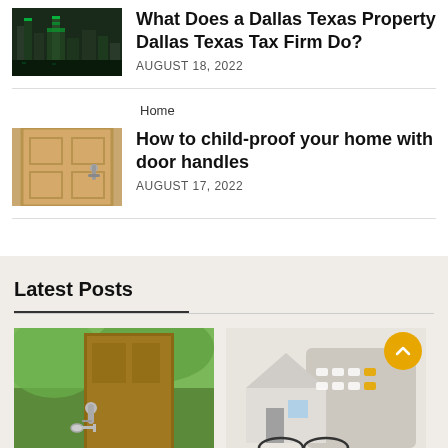What Does a Dallas Texas Property Dallas Texas Tax Firm Do?
AUGUST 18, 2022
Home
How to child-proof your home with door handles
AUGUST 17, 2022
Latest Posts
[Figure (photo): Dallas Texas city skyline at night with green-lit buildings]
[Figure (photo): Close-up of a door handle on a wooden door]
[Figure (photo): Open door with handle and key, outdoor background]
[Figure (photo): Miniature house model with calculator and glasses, property tax concept]